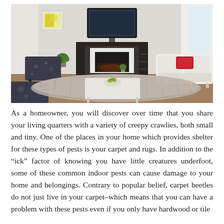[Figure (photo): Interior photo of a modern living room featuring a fireplace with a dark mantel, a flat-screen TV mounted above, white walls, a white sofa with a red pillow, dark patterned armchairs, a shaggy gray rug, a white coffee table with a bowl of fruit, and indoor plants.]
As a homeowner, you will discover over time that you share your living quarters with a variety of creepy crawlies, both small and tiny. One of the places in your home which provides shelter for these types of pests is your carpet and rugs. In addition to the “ick” factor of knowing you have little creatures underfoot, some of these common indoor pests can cause damage to your home and belongings. Contrary to popular belief, carpet beetles do not just live in your carpet–which means that you can have a problem with these pests even if you only have hardwood or tile